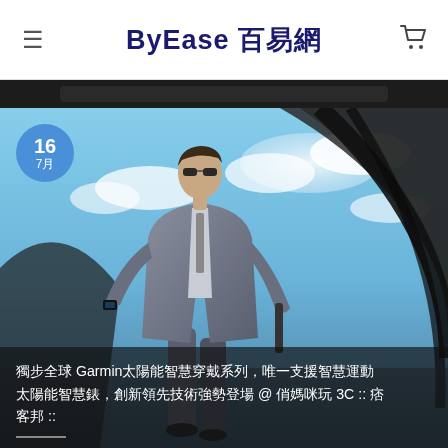ByEase 百易網
[Figure (photo): A man in a suit and sunglasses walking confidently, with a Garmin smartwatch visible on his wrist. Background shows curved architectural structures and blue sky with clouds. Date badge showing 16 / 7月 overlaid on top-left.]
獨步全球 Garmin太陽能智慧穿戴系列，唯一支援智慧運動太陽能智慧錶，創新領先技術強勢登場 @ 俏媽咪玩 3C :: 痞客邦 ::